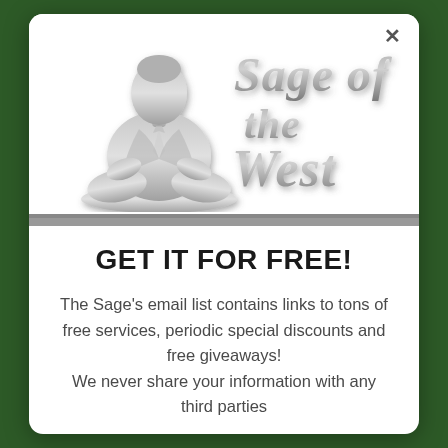[Figure (logo): Sage of the West logo: a meditating figure in business attire (silhouette in gray) with the text 'Sage of the West' in a cursive/script gray 3D font to the right]
GET IT FOR FREE!
The Sage's email list contains links to tons of free services, periodic special discounts and free giveaways!
We never share your information with any third parties